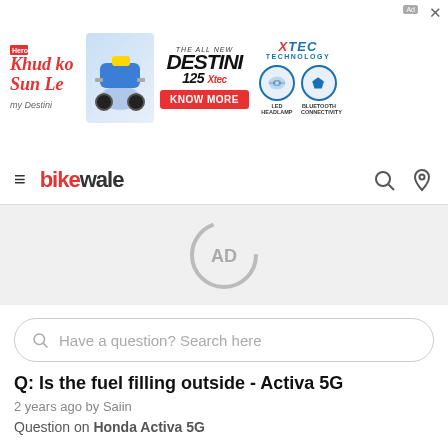[Figure (screenshot): Hero MotoCorp Destini 125 Xtec advertisement banner with 'Khud Ko Sun Le' tagline, bike image, KNOW MORE button, and Xtec Technology features (LED Headlamp, Bluetooth Connectivity)]
BikeWale navigation bar with hamburger menu, BikeWale logo, search icon and location icon
[Figure (screenshot): AD placeholder loading indicator with circular C shape and AD text]
Have a question? Search here
Q: Is the fuel filling outside - Activa 5G
2 years ago by Saiin
Question on Honda Activa 5G